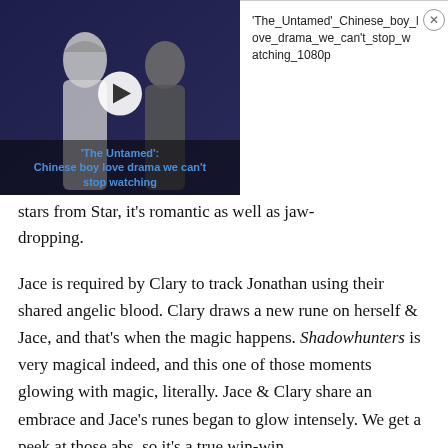[Figure (screenshot): Embedded video player showing 'The Untamed': Chinese boy love drama we can't stop watching. Thumbnail shows two male actors in period costumes. Play button overlay visible. Filename shown: 'The_Untamed'_Chinese_boy_love_drama_we_can't_stop_watching_1080p]
stars from Star, it's romantic as well as jaw-dropping.
Jace is required by Clary to track Jonathan using their shared angelic blood. Clary draws a new rune on herself & Jace, and that's when the magic happens. Shadowhunters is very magical indeed, and this one of those moments glowing with magic, literally. Jace & Clary share an embrace and Jace's runes began to glow intensely. We get a peek at those abs, so it's a true win-win.